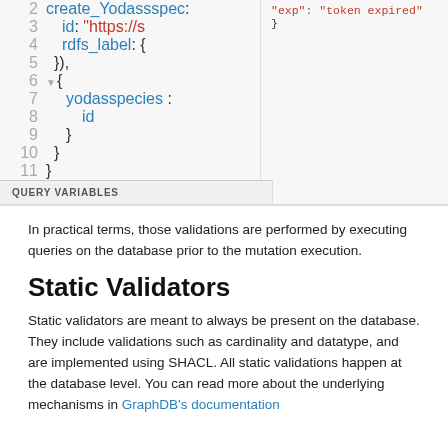[Figure (screenshot): Code editor screenshot showing lines 2-11 of a GraphQL/SPARQL query with syntax highlighting. Left panel shows query body, right panel shows error: "exp": "token expired". Bottom bar shows QUERY VARIABLES label.]
In practical terms, those validations are performed by executing queries on the database prior to the mutation execution.
Static Validators
Static validators are meant to always be present on the database. They include validations such as cardinality and datatype, and are implemented using SHACL. All static validations happen at the database level. You can read more about the underlying mechanisms in GraphDB's documentation